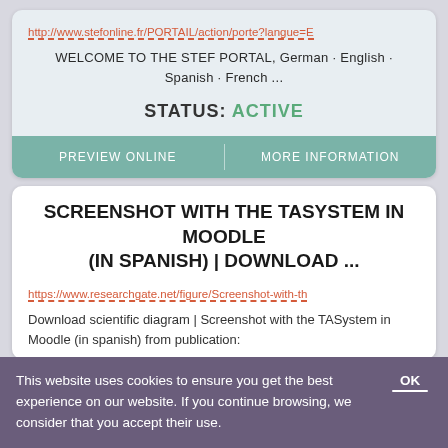http://www.stefonline.fr/PORTAIL/action/porte?langue=E
WELCOME TO THE STEF PORTAL, German · English · Spanish · French ...
STATUS: ACTIVE
PREVIEW ONLINE
MORE INFORMATION
SCREENSHOT WITH THE TASYSTEM IN MOODLE (IN SPANISH) | DOWNLOAD ...
https://www.researchgate.net/figure/Screenshot-with-th
Download scientific diagram | Screenshot with the TASystem in Moodle (in spanish) from publication:
This website uses cookies to ensure you get the best experience on our website. If you continue browsing, we consider that you accept their use.